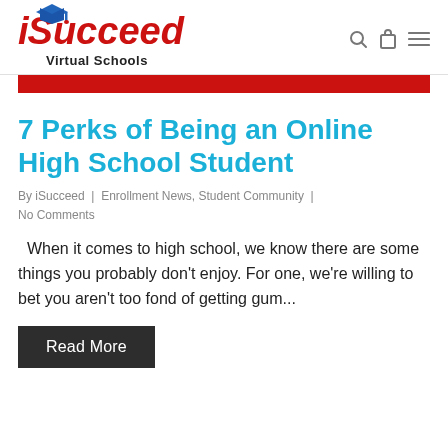iSucceed Virtual Schools
7 Perks of Being an Online High School Student
By iSucceed | Enrollment News, Student Community | No Comments
When it comes to high school, we know there are some things you probably don't enjoy. For one, we're willing to bet you aren't too fond of getting gum...
Read More